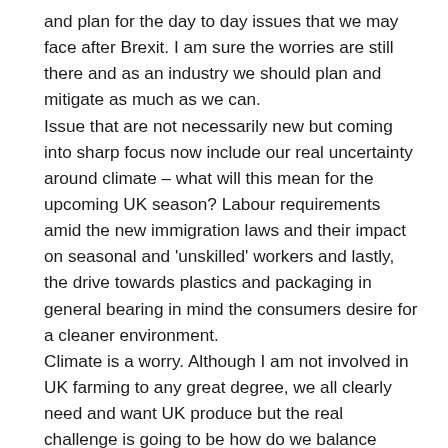and plan for the day to day issues that we may face after Brexit. I am sure the worries are still there and as an industry we should plan and mitigate as much as we can. Issue that are not necessarily new but coming into sharp focus now include our real uncertainty around climate – what will this mean for the upcoming UK season? Labour requirements amid the new immigration laws and their impact on seasonal and 'unskilled' workers and lastly, the drive towards plastics and packaging in general bearing in mind the consumers desire for a cleaner environment. Climate is a worry. Although I am not involved in UK farming to any great degree, we all clearly need and want UK produce but the real challenge is going to be how do we balance these needs and wants against the rising costs of production and an uncertain climate. We know full well and talk every day about how sensitive our products are to environmental impacts and crop losses due to heatwaves and excessive rainfall are now more common than ever, so being creative and inventive will be important. Vertical